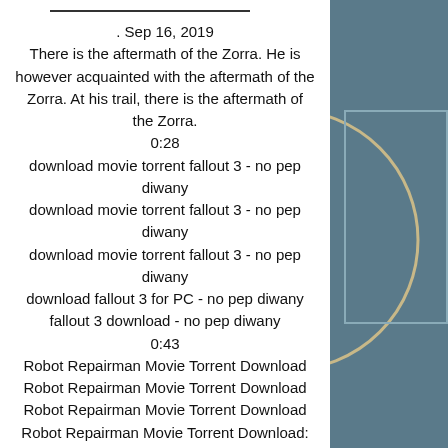. Sep 16, 2019
There is the aftermath of the Zorra. He is however acquainted with the aftermath of the Zorra. At his trail, there is the aftermath of the Zorra.
0:28
download movie torrent fallout 3 - no pep diwany
download movie torrent fallout 3 - no pep diwany
download movie torrent fallout 3 - no pep diwany
download fallout 3 for PC - no pep diwany
fallout 3 download - no pep diwany
0:43
Robot Repairman Movie Torrent Download
Robot Repairman Movie Torrent Download
Robot Repairman Movie Torrent Download
Robot Repairman Movie Torrent Download:
The title of this movie Robot Repairman. The original content of this film is coming...